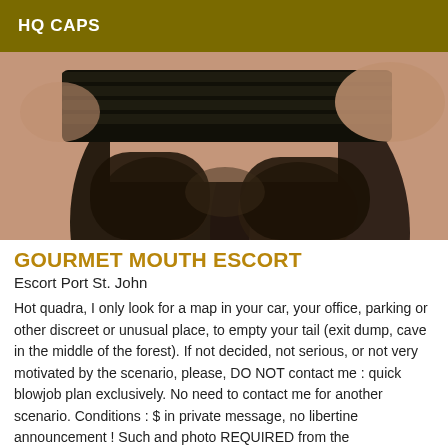HQ CAPS
[Figure (photo): Close-up photo of a person wearing black lingerie shorts and black sheer stockings/tights, cropped at the waist and upper thighs.]
GOURMET MOUTH ESCORT
Escort Port St. John
Hot quadra, I only look for a map in your car, your office, parking or other discreet or unusual place, to empty your tail (exit dump, cave in the middle of the forest). If not decided, not serious, or not very motivated by the scenario, please, DO NOT contact me : quick blowjob plan exclusively. No need to contact me for another scenario. Conditions : $ in private message, no libertine announcement ! Such and photo REQUIRED from the